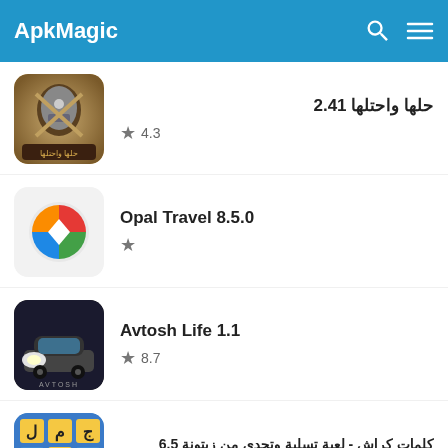ApkMagic
حلها واحتلها 2.41 — Rating: 4.3
Opal Travel 8.5.0 — Rating: ★
Avtosh Life 1.1 — Rating: 8.7
كلمات كراش - لعبة تسلية وتحدى من زيتونة 6.5 — Rating: 9.7